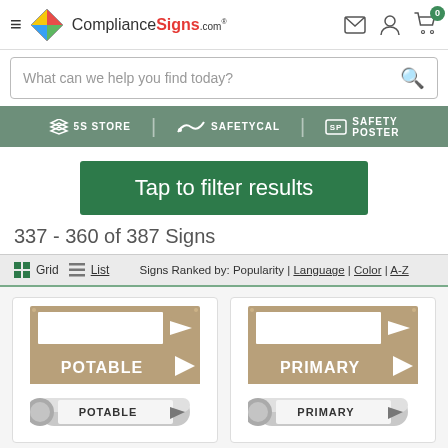[Figure (screenshot): ComplianceSigns.com website header with logo, hamburger menu, and icons for email, account, and cart showing 0 items]
What can we help you find today?
[Figure (logo): Partner logos: 5S Store, SafetyCal, Safety Poster in white on sage green background]
Tap to filter results
337 - 360 of 387 Signs
Grid  List  Signs Ranked by: Popularity | Language | Color | A-Z
[Figure (photo): POTABLE pipe marker sign - tan/brown background with white arrow and text POTABLE, shown as flat sign and pipe wrap]
[Figure (photo): PRIMARY pipe marker sign - tan/brown background with white arrow and text PRIMARY, shown as flat sign and pipe wrap]